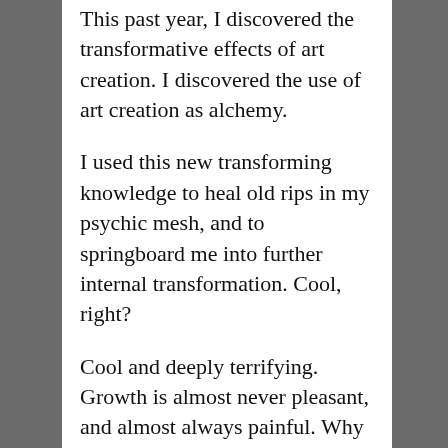This past year, I discovered the transformative effects of art creation. I discovered the use of art creation as alchemy.
I used this new transforming knowledge to heal old rips in my psychic mesh, and to springboard me into further internal transformation. Cool, right?
Cool and deeply terrifying. Growth is almost never pleasant, and almost always painful. Why risk the pain? Honestly, the risk was definitely worth the reward. The healing rewards that took place were absolutely worth the risk of the pain.
This past year, I discovered the rewards of using my art practice as an alchemical-process. Like the alchemy of the phoenix…